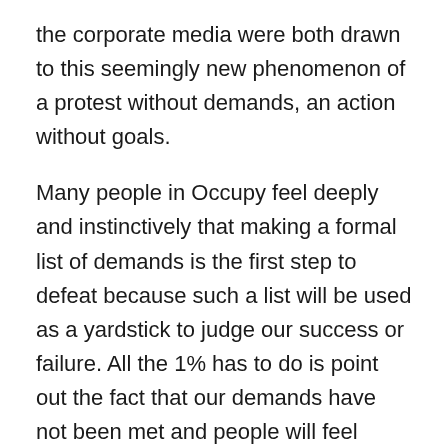the corporate media were both drawn to this seemingly new phenomenon of a protest without demands, an action without goals.
Many people in Occupy feel deeply and instinctively that making a formal list of demands is the first step to defeat because such a list will be used as a yardstick to judge our success or failure. All the 1% has to do is point out the fact that our demands have not been met and people will feel defeated, that marching is pointless, just as we did in 2003 when the government invaded Iraq despite our best efforts. The invasion of Iraq was a fatal blow to the anti-war movement because our central demand meant zero in the big scheme of things.
Back then, people felt defeated, demoralized, and stayed home, but they also began to learn something important: